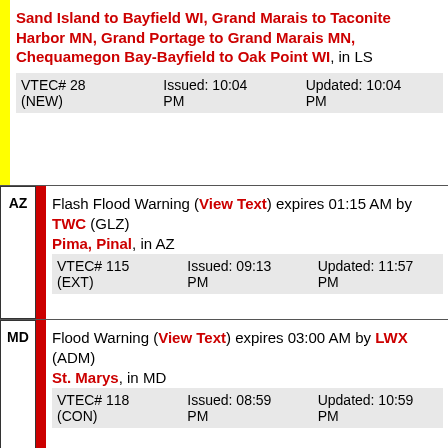Sand Island to Bayfield WI, Grand Marais to Taconite Harbor MN, Grand Portage to Grand Marais MN, Chequamegon Bay-Bayfield to Oak Point WI, in LS
| VTEC# | Issued | Updated |
| --- | --- | --- |
| VTEC# 28 (NEW) | Issued: 10:04 PM | Updated: 10:04 PM |
Flash Flood Warning (View Text) expires 01:15 AM by TWC (GLZ)
Pima, Pinal, in AZ
| VTEC# | Issued | Updated |
| --- | --- | --- |
| VTEC# 115 (EXT) | Issued: 09:13 PM | Updated: 11:57 PM |
Flood Warning (View Text) expires 03:00 AM by LWX (ADM)
St. Marys, in MD
| VTEC# | Issued | Updated |
| --- | --- | --- |
| VTEC# 118 (CON) | Issued: 08:59 PM | Updated: 10:59 PM |